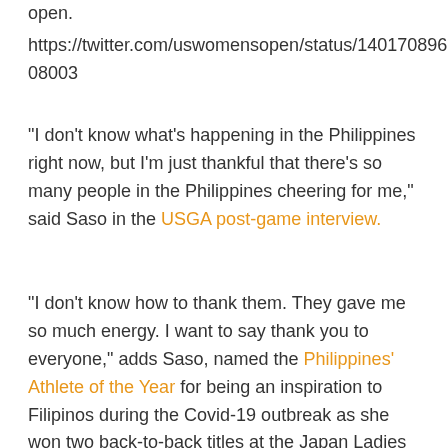open.
https://twitter.com/uswomensopen/status/140170896175820 8003
“I don’t know what’s happening in the Philippines right now, but I’m just thankful that there’s so many people in the Philippines cheering for me,” said Saso in the USGA post-game interview.
“I don’t know how to thank them. They gave me so much energy. I want to say thank you to everyone,” adds Saso, named the Philippines’ Athlete of the Year for being an inspiration to Filipinos during the Covid-19 outbreak as she won two back-to-back titles at the Japan Ladies Professional Golf Association (JLPGA), her first at the NEC Karuizawa Championship which made her the first Filipina golfer to win the Japan LPGA tour and the second at the Nitori Ladies Golf